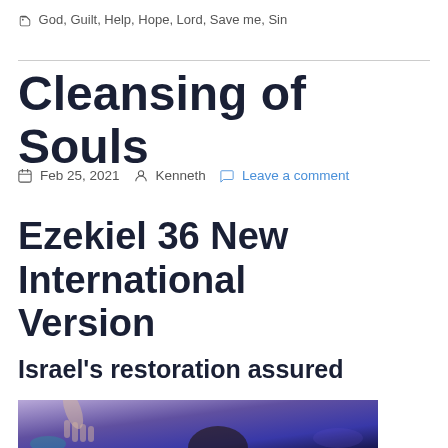🏷 God, Guilt, Help, Hope, Lord, Save me, Sin
Cleansing of Souls
📅 Feb 25, 2021   👤 Kenneth   💬 Leave a comment
Ezekiel 36 New International Version
Israel's restoration assured
[Figure (photo): A person raising their hand in worship against a purple/blue stage lighting background]